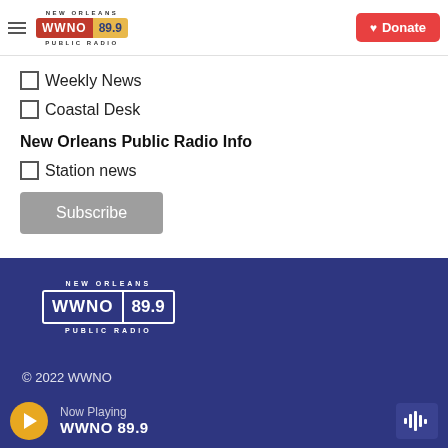[Figure (logo): WWNO 89.9 New Orleans Public Radio logo in header]
[Figure (other): Red Donate button with heart icon]
Weekly News
Coastal Desk
New Orleans Public Radio Info
Station news
[Figure (other): Grey Subscribe button]
[Figure (logo): WWNO 89.9 New Orleans Public Radio logo in footer dark blue section]
© 2022 WWNO
[Figure (other): Now Playing bar: WWNO 89.9 with play button and waveform icon]